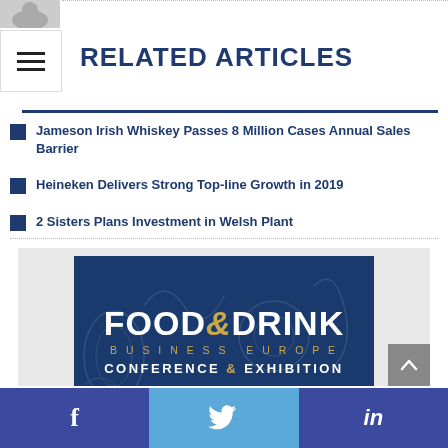[Figure (illustration): Profile/avatar icon placeholder at top left, grey silhouette]
[Figure (illustration): Hamburger menu icon box with three horizontal bars]
RELATED ARTICLES
Jameson Irish Whiskey Passes 8 Million Cases Annual Sales Barrier
Heineken Delivers Strong Top-line Growth in 2019
2 Sisters Plans Investment in Welsh Plant
[Figure (logo): Food & Drink Business Europe Conference & Exhibition banner/logo on dark blue background with food illustration sketches]
f  [Twitter bird]  in